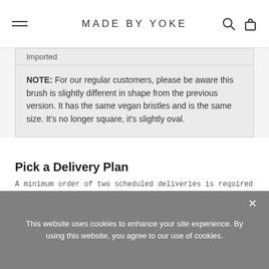MADE BY YOKE
Imported
NOTE: For our regular customers, please be aware this brush is slightly different in shape from the previous version. It has the same vegan bristles and is the same size. It's no longer square, it's slightly oval.
Pick a Delivery Plan
A minimum order of two scheduled deliveries is required to participate in subscriptions
One-time purchase
This website uses cookies to enhance your site experience. By using this website, you agree to our use of cookies.